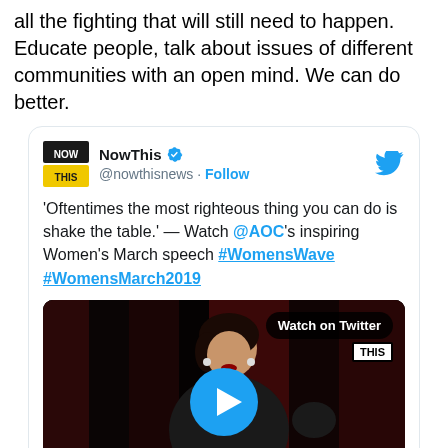all the fighting that will still need to happen. Educate people, talk about issues of different communities with an open mind. We can do better.
[Figure (screenshot): Embedded tweet from NowThis (@nowthisnews) with verified badge and Follow button. Tweet text: 'Oftentimes the most righteous thing you can do is shake the table.' — Watch @AOC's inspiring Women's March speech #WomensWave #WomensMarch2019. Below the text is a video thumbnail showing a woman speaking, with a 'Watch on Twitter' badge and a play button overlay.]